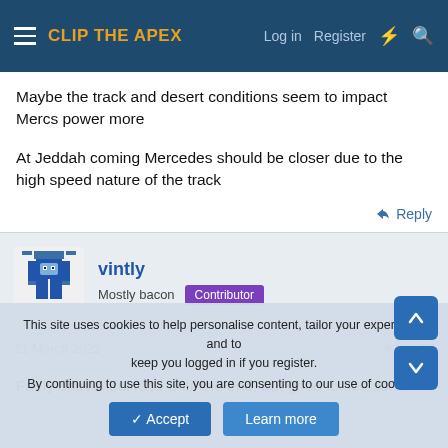CLIP THE APEX — Log in  Register
Maybe the track and desert conditions seem to impact Mercs power more
At Jeddah coming Mercedes should be closer due to the high speed nature of the track
Reply
vintly
Mostly bacon  Contributor
21 March 2022  #77
Fairly uneventful race until the end, but good to see some
This site uses cookies to help personalise content, tailor your experience and to keep you logged in if you register.
By continuing to use this site, you are consenting to our use of cookies.
Accept  Learn more